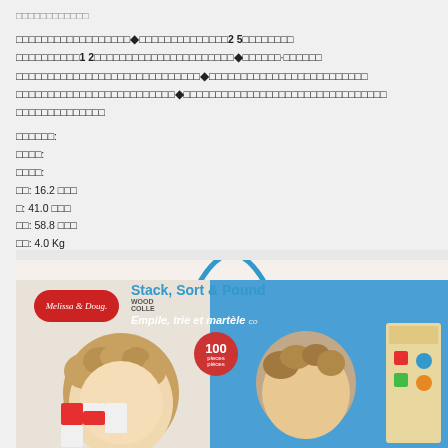□□□□□□□□□□□□
□□□□□□□□□□□□□□□□□□◆□□□□□□□□□□□□□□2 5□□□□□□□□□□□□□□□□□□1 2□□□□□□□□□□□□□□□□□□□□□□◆□□□□□□·□□□□□□□□□□□□□□□□□□□□□□□□□□□□□□□□◆□□□□□□□□□□□□□□□□□□□□□□□□□□□□□□□□□□□□□□□□□□◆□□□□□□□□□□□□□□□□□□□□□□□□□□□□□□□□
□□□□□□:
□□□□:
□□□□:
□□: 16.2 □□□
□: 41.0 □□□
□□: 58.8 □□□
□□: 4.0 Kg
[Figure (photo): Product box image of Melissa & Doug Stack, Sort & Pound wooden toy collection. Shows two children playing with colorful wooden blocks and shape sorters. Red oval brand logo on left side. Blue and beige box design. '100 pieces' red circle badge. French subtitle 'Empile, trie et martèle'.]